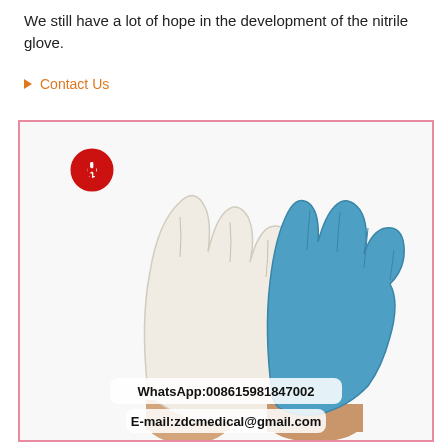We still have a lot of hope in the development of the nitrile glove.
Contact Us
[Figure (photo): Two medical gloves held up — one white latex glove on the left and one blue nitrile glove on the right, worn on mannequin hands against a white background. A red company logo appears in the top-left. Contact info overlays at the bottom: WhatsApp:008615981847002 and E-mail:zdcmedical@gmail.com]